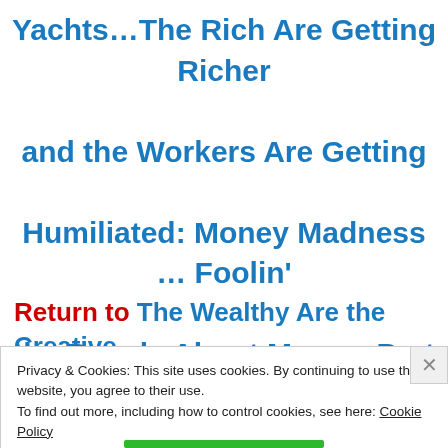Yachts…The Rich Are Getting Richer and the Workers Are Getting Humiliated: Money Madness … Foolin' the People About Money, Part 4
Return to The Wealthy Are the Creative
Privacy & Cookies: This site uses cookies. By continuing to use this website, you agree to their use.
To find out more, including how to control cookies, see here: Cookie Policy
Close and accept